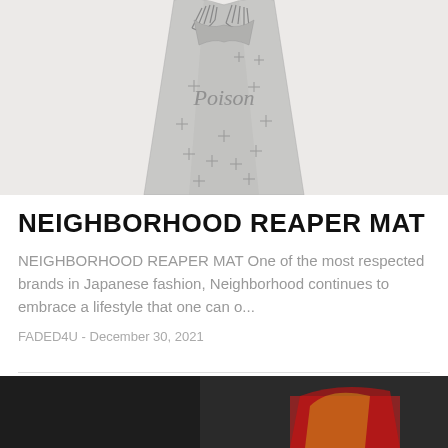[Figure (illustration): Illustration of a reaper/skeleton figure in a cloak with the word 'Poison' written on it and cross symbols scattered across the fabric. Drawn in pencil/graphite on light background.]
NEIGHBORHOOD REAPER MAT
NEIGHBORHOOD REAPER MAT One of the most respected brands in Japanese fashion, Neighborhood continues to embrace a lifestyle that one can o...
FADED4U - December 30, 2021
[Figure (photo): Partial photo of a person wearing a colorful outfit, partially visible at the bottom of the page.]